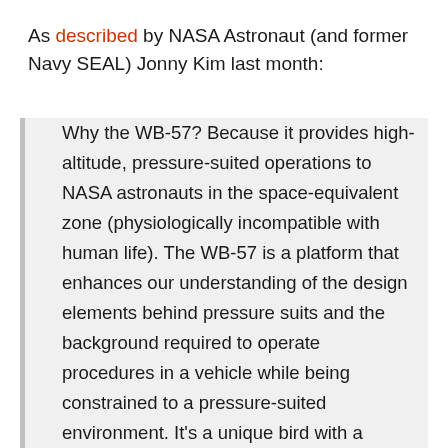As described by NASA Astronaut (and former Navy SEAL) Jonny Kim last month:
Why the WB-57? Because it provides high-altitude, pressure-suited operations to NASA astronauts in the space-equivalent zone (physiologically incompatible with human life). The WB-57 is a platform that enhances our understanding of the design elements behind pressure suits and the background required to operate procedures in a vehicle while being constrained to a pressure-suited environment. It's a unique bird with a wingspan of 122', max altitude of 65,000' and powered by twin engines capable of 15.5k lbs of thrust each. Fun fact, the WB-57 was modified from the B-57 which was retired from the Air Force in 1983. When it's not